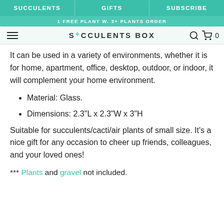SUCCULENTS | GIFTS | SUBSCRIBE
1 FREE PLANT W. 3+ PLANTS ORDER
SUCCULENTS BOX
It can be used in a variety of environments, whether it is for home, apartment, office, desktop, outdoor, or indoor, it will complement your home environment.
Material: Glass.
Dimensions: 2.3"L x 2.3"W x 3"H
Suitable for succulents/cacti/air plants of small size. It's a nice gift for any occasion to cheer up friends, colleagues, and your loved ones!
*** Plants and gravel not included.